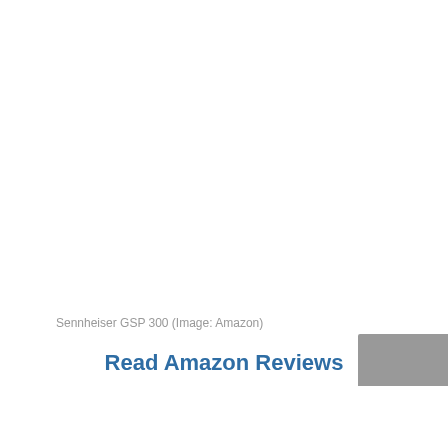Sennheiser GSP 300 (Image: Amazon)
Read Amazon Reviews
[Figure (photo): Partial view of a gray/dark rectangular element in the bottom-right corner, partially cropped]